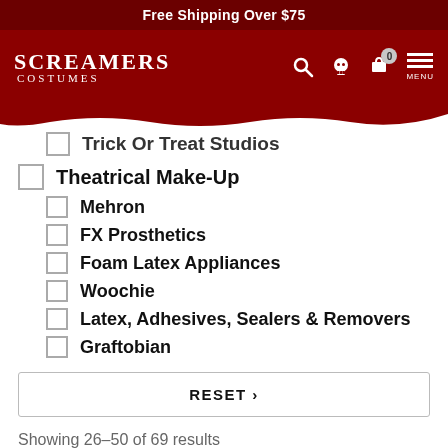Free Shipping Over $75
[Figure (logo): Screamers Costumes logo with skull and menu icons on dark red navigation bar]
Trick Or Treat Studios
Theatrical Make-Up
Mehron
FX Prosthetics
Foam Latex Appliances
Woochie
Latex, Adhesives, Sealers & Removers
Graftobian
RESET ›
Showing 26–50 of 69 results
Products Per Page